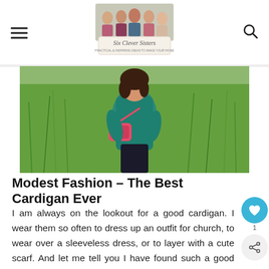Six Clever Sisters blog header with logo and navigation
[Figure (photo): Woman wearing a teal cardigan and holding a pink crossbody bag, standing in front of tall green grass outdoors]
Modest Fashion – The Best Cardigan Ever
I am always on the lookout for a good cardigan. I wear them so often to dress up an outfit for church, to wear over a sleeveless dress, or to layer with a cute scarf. And let me tell you I have found such a good one!! I'm really picky about not liking sweaters that Read More